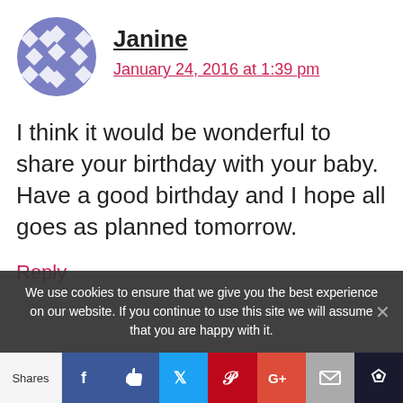Janine
January 24, 2016 at 1:39 pm
I think it would be wonderful to share your birthday with your baby. Have a good birthday and I hope all goes as planned tomorrow.
Reply
We use cookies to ensure that we give you the best experience on our website. If you continue to use this site we will assume that you are happy with it.
Shares